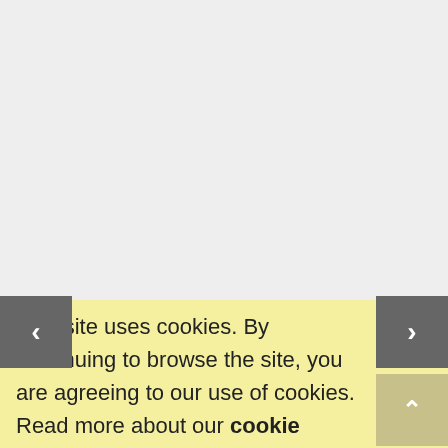[Figure (screenshot): Light gray blank area occupying the upper portion of the page, representing an empty content area or image placeholder]
[Figure (other): Left navigation arrow button (chevron left) in dark gray square]
[Figure (other): Right navigation arrow button (chevron right) in dark gray square]
[Figure (other): Upward arrow button in muted yellow/khaki square]
This site uses cookies. By continuing to browse the site, you are agreeing to our use of cookies. Read more about our cookie terms.